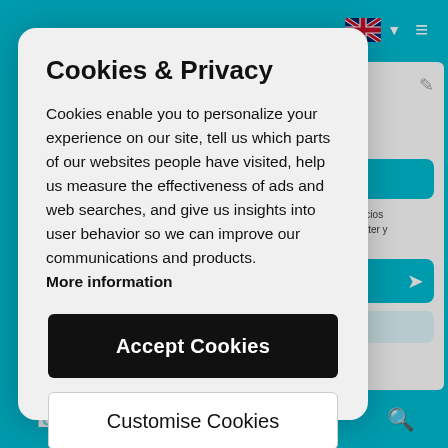[Figure (screenshot): Teal/cyan website background with navigation bar showing UK flag and hamburger menu icon, partially visible web content on the right side, and a bottom tab bar with icons.]
Cookies & Privacy
Cookies enable you to personalize your experience on our site, tell us which parts of our websites people have visited, help us measure the effectiveness of ads and web searches, and give us insights into user behavior so we can improve our communications and products. More information
Accept Cookies
Customise Cookies